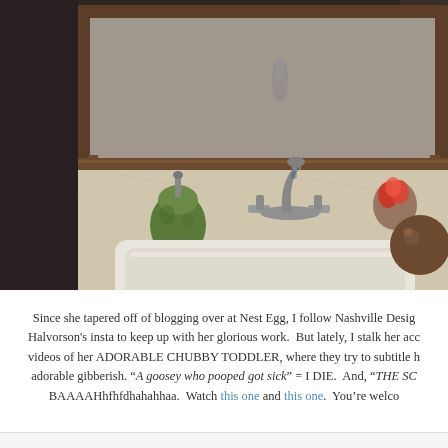[Figure (photo): Bathroom sink with brushed nickel faucet on a light granite countertop. A green soap dispenser is on the left, red flowers and a brown decorative sphere on the right. Dark wood mirror frame visible behind the sink, with a white rectangular sink basin in the foreground.]
Since she tapered off of blogging over at Nest Egg, I follow Nashville Design Halvorson's insta to keep up with her glorious work.  But lately, I stalk her account for videos of her ADORABLE CHUBBY TODDLER, where they try to subtitle her adorable gibberish. "A goosey who pooped got sick" = I DIE.  And, "THE SC... BAAAAHhfhfdhahahhaa.  Watch this one and this one.  You're welco...